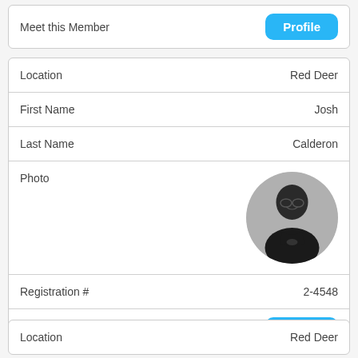Meet this Member
| Field | Value |
| --- | --- |
| Location | Red Deer |
| First Name | Josh |
| Last Name | Calderon |
| Photo | (photo of Josh Calderon) |
| Registration # | 2-4548 |
| Meet this Member | Profile |
| Field | Value |
| --- | --- |
| Location | Red Deer |